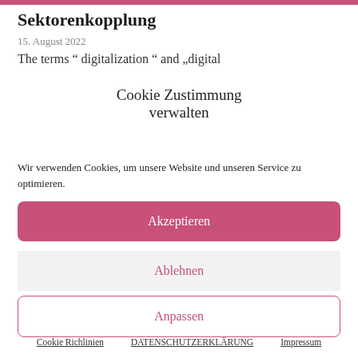Sektorenkopplung
15. August 2022
The terms " digitalization " and „digital
Cookie Zustimmung
verwalten
Wir verwenden Cookies, um unsere Website und unseren Service zu optimieren.
Akzeptieren
Ablehnen
Anpassen
Cookie Richlinien   DATENSCHUTZERKLÄRUNG   Impressum